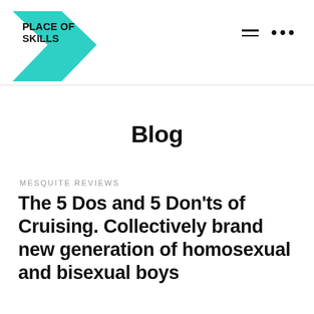PLACE OF SKILLS
Blog
MESQUITE REVIEWS
The 5 Dos and 5 Don'ts of Cruising. Collectively brand new generation of homosexual and bisexual boys